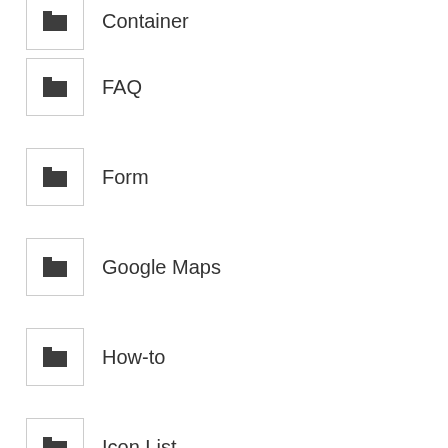Container
FAQ
Form
Google Maps
How-to
Icon List